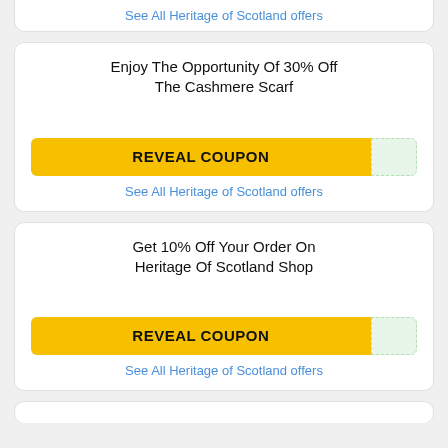See All Heritage of Scotland offers
Enjoy The Opportunity Of 30% Off The Cashmere Scarf
REVEAL COUPON
See All Heritage of Scotland offers
Get 10% Off Your Order On Heritage Of Scotland Shop
REVEAL COUPON
See All Heritage of Scotland offers